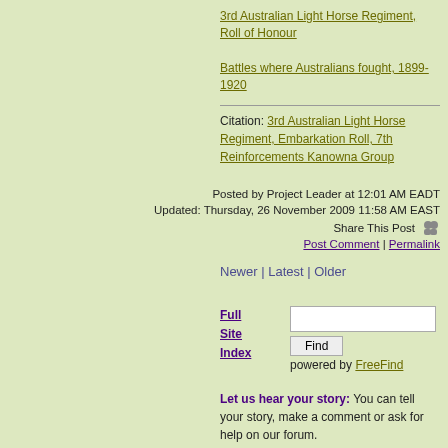3rd Australian Light Horse Regiment, Roll of Honour
Battles where Australians fought, 1899-1920
Citation: 3rd Australian Light Horse Regiment, Embarkation Roll, 7th Reinforcements Kanowna Group
Posted by Project Leader at 12:01 AM EADT
Updated: Thursday, 26 November 2009 11:58 AM EAST
Share This Post
Post Comment | Permalink
Newer | Latest | Older
Full Site Index
powered by FreeFind
Let us hear your story: You can tell your story, make a comment or ask for help on our forum.